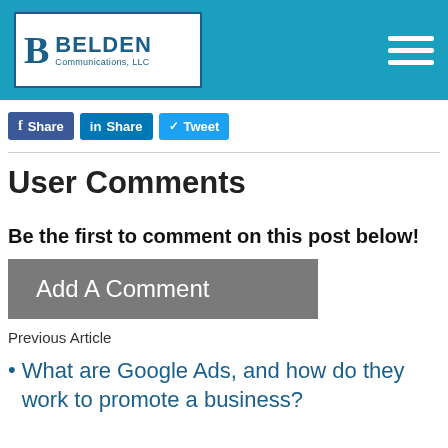Belden Communications, LLC — navigation header
[Figure (logo): Belden Communications LLC logo with blue B and company name]
Share   Share   Tweet
User Comments
Be the first to comment on this post below!
Add A Comment
Previous Article
What are Google Ads, and how do they work to promote a business?